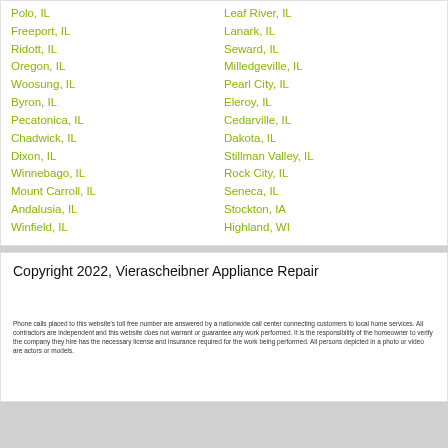Polo, IL
Freeport, IL
Ridott, IL
Oregon, IL
Woosung, IL
Byron, IL
Pecatonica, IL
Chadwick, IL
Dixon, IL
Winnebago, IL
Mount Carroll, IL
Andalusia, IL
Winfield, IL
Leaf River, IL
Lanark, IL
Seward, IL
Milledgeville, IL
Pearl City, IL
Eleroy, IL
Cedarville, IL
Dakota, IL
Stillman Valley, IL
Rock City, IL
Seneca, IL
Stockton, IA
Highland, WI
Copyright 2022, Vierascheibner Appliance Repair
Phone calls placed to this website's toll free number are answered by a nationwide call center connecting customers to local home services. All contractors are independent and this website does not warrant or guarantee any work performed. It is the responsibility of the homeowner to verify the company they hire has the necessary license and insurance required for the work being performed. All persons depicted in a photo or video are actors or models.